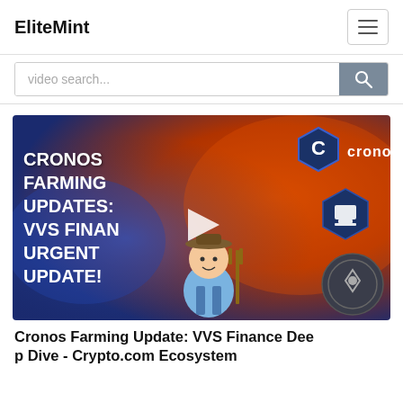EliteMint
[Figure (screenshot): Video thumbnail for 'Cronos Farming Update: VVS Finance Deep Dive - Crypto.com Ecosystem' showing bold white text on a colorful background with Cronos and VVS Finance logos and a farmer illustration. Has a play button overlay.]
Cronos Farming Update: VVS Finance Deep Dive - Crypto.com Ecosystem